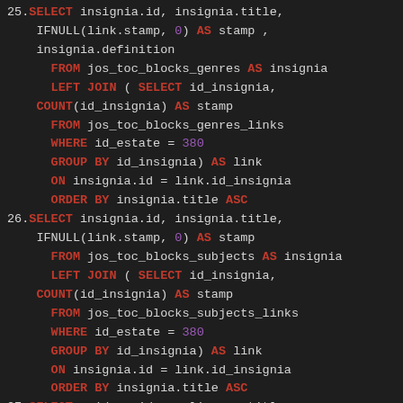SQL code snippet showing queries 25, 26, and 27 with SELECT, IFNULL, FROM, LEFT JOIN, COUNT, WHERE, GROUP BY, ON, ORDER BY clauses